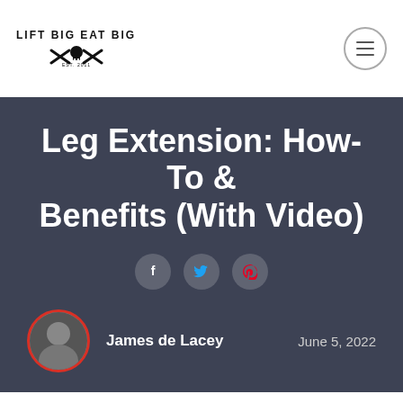LIFT BIG EAT BIG
Leg Extension: How-To & Benefits (With Video)
James de Lacey  June 5, 2022
Isolation exercises are often forgone for compound exercises when building muscle. Typically, they are not seen as "functional."